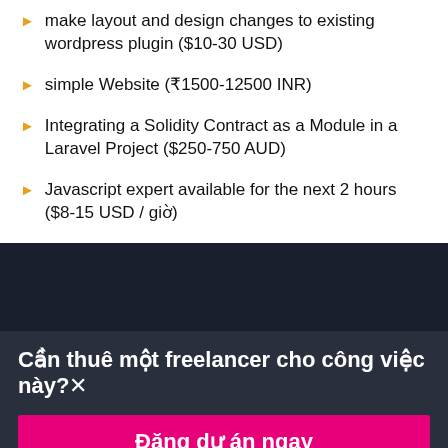make layout and design changes to existing wordpress plugin ($10-30 USD)
simple Website (₹1500-12500 INR)
Integrating a Solidity Contract as a Module in a Laravel Project ($250-750 AUD)
Javascript expert available for the next 2 hours ($8-15 USD / giờ)
Cần thuê một freelancer cho công việc này?×
Đăng dự án ngay